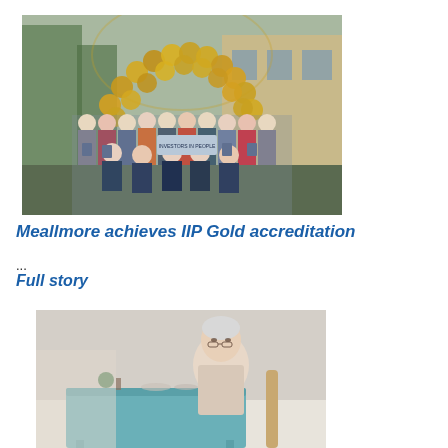[Figure (photo): Group of employees wearing face masks holding certificates in front of an archway decorated with gold balloons outside a stone building.]
Meallmore achieves IIP Gold accreditation
...
Full story
[Figure (photo): Elderly person sitting at a table indoors, with a light blue sideboard in the background.]